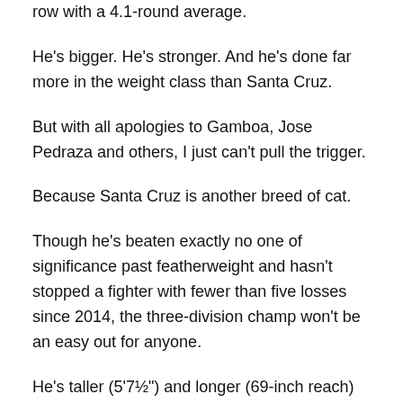row with a 4.1-round average.
He's bigger. He's stronger. And he's done far more in the weight class than Santa Cruz.
But with all apologies to Gamboa, Jose Pedraza and others, I just can't pull the trigger.
Because Santa Cruz is another breed of cat.
Though he's beaten exactly no one of significance past featherweight and hasn't stopped a fighter with fewer than five losses since 2014, the three-division champ won't be an easy out for anyone.
He's taller (5'7½") and longer (69-inch reach) than Davis (5'5½", 67½), has shown [Previous button] ly more credible boxing chops as he's climbed the weight-class ladder and